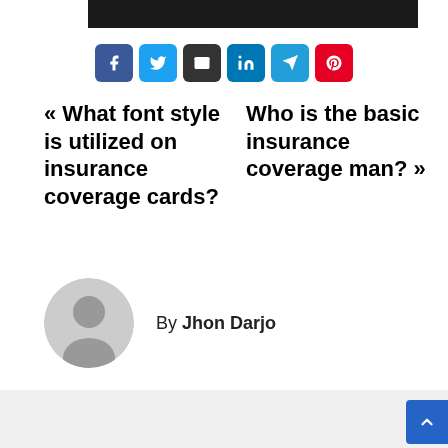[Figure (illustration): Black banner/header bar at the top of the article card]
[Figure (illustration): Social sharing buttons row: Facebook (blue), Twitter (light blue), Email (dark), LinkedIn (blue), Telegram (blue), Pinterest (red)]
« What font style is utilized on insurance coverage cards?
Who is the basic insurance coverage man? »
By Jhon Darjo
[Figure (illustration): Gray circular avatar/profile placeholder icon for author Jhon Darjo]